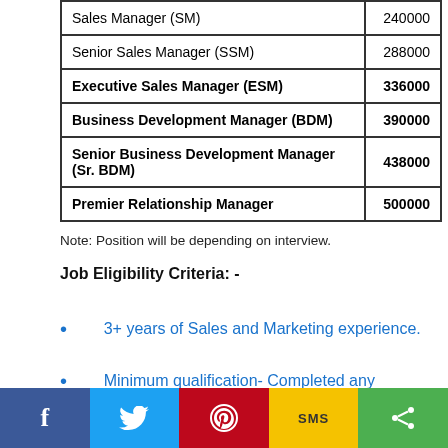| Position | Amount |
| --- | --- |
| Sales Manager (SM) | 240000 |
| Senior Sales Manager (SSM) | 288000 |
| Executive Sales Manager (ESM) | 336000 |
| Business Development Manager (BDM) | 390000 |
| Senior Business Development Manager (Sr. BDM) | 438000 |
| Premier Relationship Manager | 500000 |
Note: Position will be depending on interview.
Job Eligibility Criteria: -
3+ years of Sales and Marketing experience.
Minimum qualification- Completed any Graduation required.
Social share bar: Facebook, Twitter, Pinterest, SMS, Share